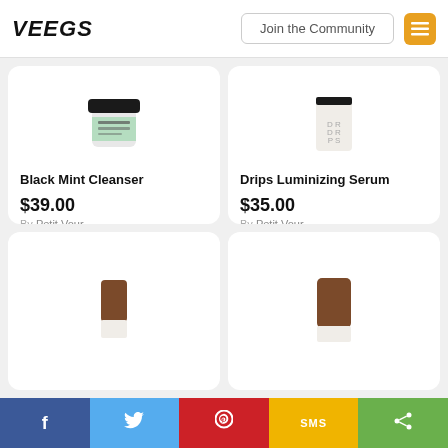VEEGS | Join the Community
[Figure (photo): Black Mint Cleanser product jar with green label]
Black Mint Cleanser
$39.00
By Petit Vour
[Figure (photo): Drips Luminizing Serum product bottle with white label]
Drips Luminizing Serum
$35.00
By Petit Vour
[Figure (photo): Brown stick product partially visible]
[Figure (photo): Brown stick product partially visible]
f | Twitter | Pinterest | SMS | Share